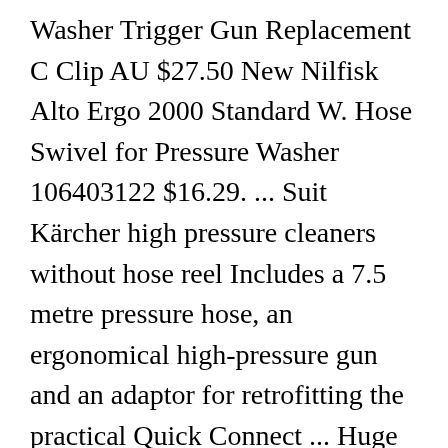Washer Trigger Gun Replacement C Clip AU $27.50 New Nilfisk Alto Ergo 2000 Standard W. Hose Swivel for Pressure Washer 106403122 $16.29. ... Suit Kärcher high pressure cleaners without hose reel Includes a 7.5 metre pressure hose, an ergonomical high-pressure gun and an adaptor for retrofitting the practical Quick Connect ... Huge selection of Karcher Guns. With the right setting for every task. How To Simply Measure The Size Of Your Pressure Hose Fittings Use Callipers, Ruler or Tape Measure For those of you who wish to the best karcher pressure washer hose replacement, you should not miss this article. These parts are exclusively designed for Karcher pressure washers so they will not work for other brands